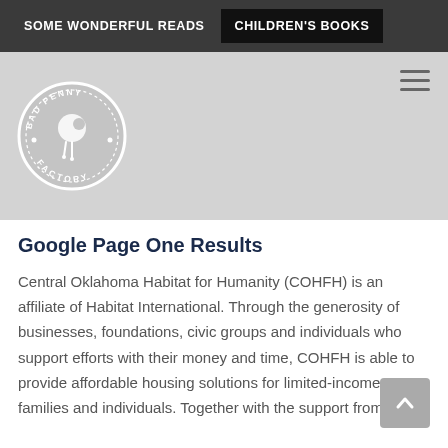SOME WONDERFUL READS   CHILDREN'S BOOKS
[Figure (logo): Bad Penny Factory circular logo with text around the border and a stylized penny/coin figure in the center]
Google Page One Results
Central Oklahoma Habitat for Humanity (COHFH) is an affiliate of Habitat International. Through the generosity of businesses, foundations, civic groups and individuals who support efforts with their money and time, COHFH is able to provide affordable housing solutions for limited-income families and individuals. Together with the support from